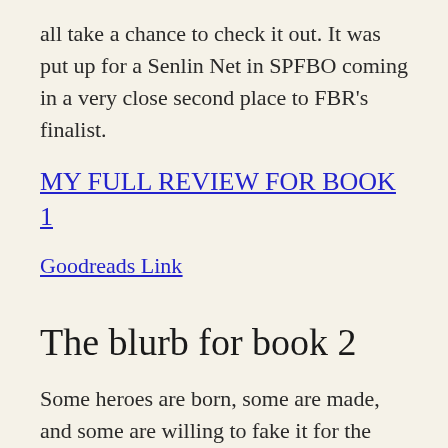all take a chance to check it out. It was put up for a Senlin Net in SPFBO coming in a very close second place to FBR's finalist.
MY FULL REVIEW FOR BOOK 1
Goodreads Link
The blurb for book 2
Some heroes are born, some are made, and some are willing to fake it for the right pay.